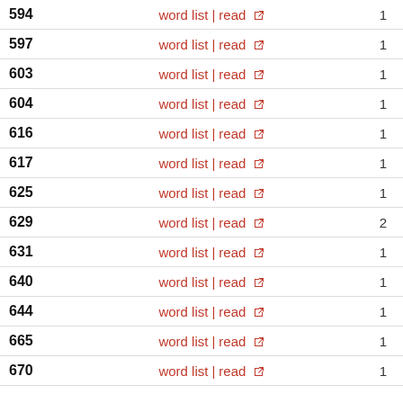|  |  |  |
| --- | --- | --- |
| 594 | word list | read ↗ | 1 |
| 597 | word list | read ↗ | 1 |
| 603 | word list | read ↗ | 1 |
| 604 | word list | read ↗ | 1 |
| 616 | word list | read ↗ | 1 |
| 617 | word list | read ↗ | 1 |
| 625 | word list | read ↗ | 1 |
| 629 | word list | read ↗ | 2 |
| 631 | word list | read ↗ | 1 |
| 640 | word list | read ↗ | 1 |
| 644 | word list | read ↗ | 1 |
| 665 | word list | read ↗ | 1 |
| 670 | word list | read ↗ | 1 |